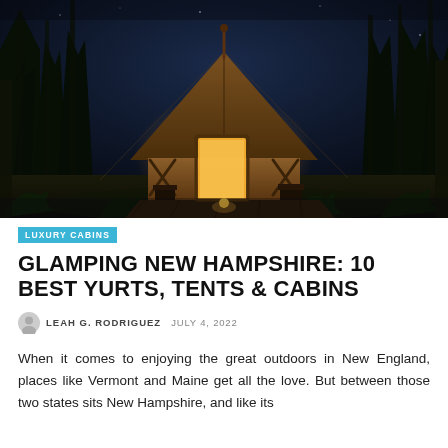[Figure (photo): A glowing glamping luxury tent lit from inside at dusk, surrounded by tall pine trees and ferns in a dark forest setting. The tent has a triangular peaked roof and wooden deck platform.]
LUXURY CABINS
GLAMPING NEW HAMPSHIRE: 10 BEST YURTS, TENTS & CABINS
LEAH G. RODRIGUEZ  JULY 4, 2022
When it comes to enjoying the great outdoors in New England, places like Vermont and Maine get all the love. But between those two states sits New Hampshire, and like its